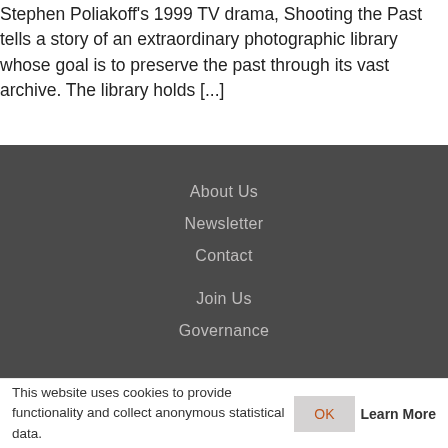Stephen Poliakoff's 1999 TV drama, Shooting the Past tells a story of an extraordinary photographic library whose goal is to preserve the past through its vast archive. The library holds [...]
About Us
Newsletter
Contact
Join Us
Governance
This website uses cookies to provide functionality and collect anonymous statistical data.
OK
Learn More